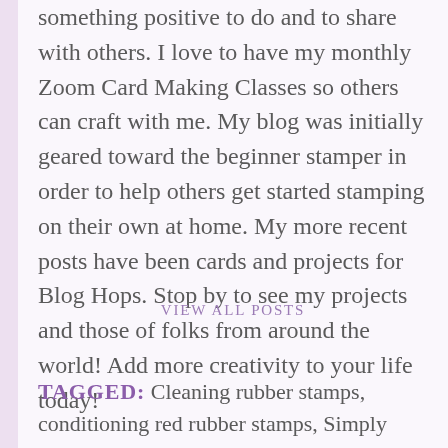something positive to do and to share with others. I love to have my monthly Zoom Card Making Classes so others can craft with me. My blog was initially geared toward the beginner stamper in order to help others get started stamping on their own at home. My more recent posts have been cards and projects for Blog Hops. Stop by to see my projects and those of folks from around the world! Add more creativity to your life today!
VIEW ALL POSTS
TAGGED: Cleaning rubber stamps, conditioning red rubber stamps, Simply